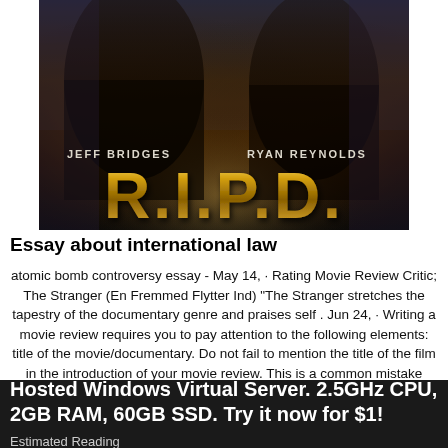[Figure (photo): R.I.P.D. movie poster featuring Jeff Bridges and Ryan Reynolds with gold metallic title text on dark background]
Essay about international law
atomic bomb controversy essay - May 14,  · Rating Movie Review Critic; The Stranger (En Fremmed Flytter Ind) "The Stranger stretches the tapestry of the documentary genre and praises self . Jun 24,  · Writing a movie review requires you to pay attention to the following elements: title of the movie/documentary. Do not fail to mention the title of the film in the introduction of your movie review. This is a common mistake made by many students.
Estimated Reading Time: 6 mins. Purpose of Movie Review: The con function of
Hosted Windows Virtual Server. 2.5GHz CPU, 2GB RAM, 60GB SSD. Try it now for $1!